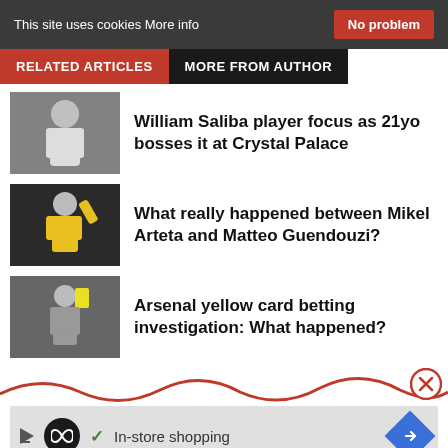This site uses cookies More info  No problem
RELATED ARTICLES  MORE FROM AUTHOR
William Saliba player focus as 21yo bosses it at Crystal Palace
What really happened between Mikel Arteta and Matteo Guendouzi?
Arsenal yellow card betting investigation: What happened?
[Figure (other): Advertisement banner with In-store shopping text, infinity logo, checkmark, and arrow icon]